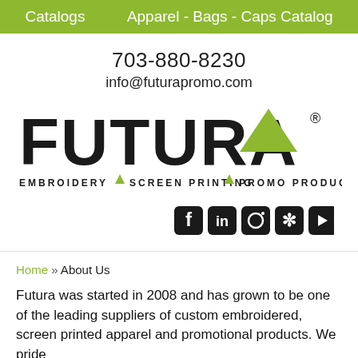Catalogs   Apparel - Bags - Caps Catalog
703-880-8230
info@futurapromo.com
[Figure (logo): Futura logo with green triangle - EMBROIDERY · SCREEN PRINTING · PROMO PRODUCTS]
[Figure (infographic): Social media icons: Facebook, LinkedIn, Instagram, Yelp, YouTube]
Home » About Us
Futura was started in 2008 and has grown to be one of the leading suppliers of custom embroidered, screen printed apparel and promotional products. We pride